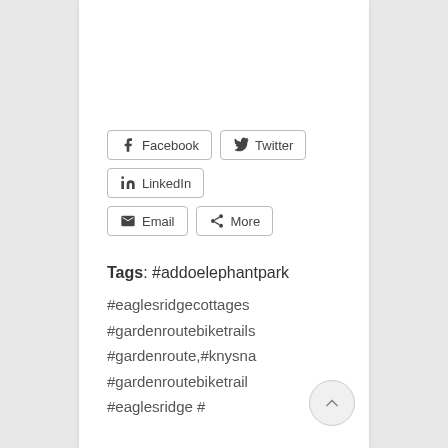[Figure (infographic): Social share buttons row: Facebook, Twitter, LinkedIn, Email, More]
Tags: #addoelephantpark
#eaglesridgecottages
#gardenroutebiketrails
#gardenroute,#knysna
#gardenroutebiketrail
#eaglesridge #